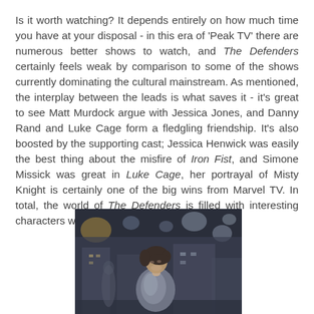Is it worth watching? It depends entirely on how much time you have at your disposal - in this era of 'Peak TV' there are numerous better shows to watch, and The Defenders certainly feels weak by comparison to some of the shows currently dominating the cultural mainstream. As mentioned, the interplay between the leads is what saves it - it's great to see Matt Murdock argue with Jessica Jones, and Danny Rand and Luke Cage form a fledgling friendship. It's also boosted by the supporting cast; Jessica Henwick was easily the best thing about the misfire of Iron Fist, and Simone Missick was great in Luke Cage, her portrayal of Misty Knight is certainly one of the big wins from Marvel TV. In total, the world of The Defenders is filled with interesting characters with not much to do.
[Figure (photo): A woman with short dark hair looking upward in a dimly lit urban setting, wearing a shimmery grey coat or wrap. Background shows blurred building lights.]